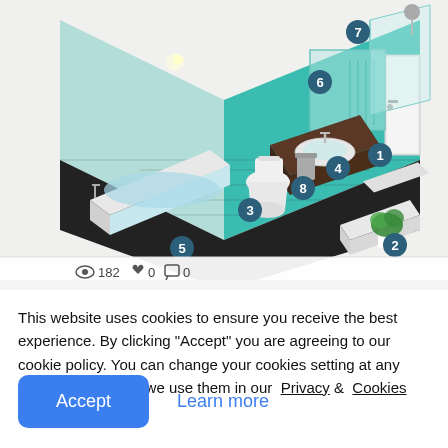[Figure (illustration): Isometric illustration of a bathroom interior with numbered markers (1-8) indicating various bathroom fixtures and features including door (1), bench/ottoman (2), toilet (3), sink/vanity (4), bathtub (5), mirror (6), shower (7), trash bin (8). Stats bar at bottom showing 182 views, 0 likes, 0 comments.]
This website uses cookies to ensure you receive the best experience. By clicking "Accept" you are agreeing to our cookie policy. You can change your cookies setting at any time and read how we use them in our Privacy & Cookies Policy.
Accept
Learn more